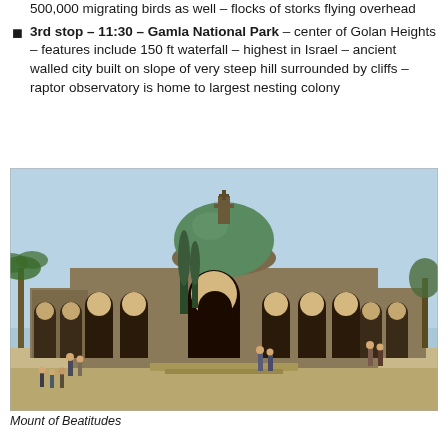500,000 migrating birds as well – flocks of storks flying overhead
3rd stop – 11:30 – Gamla National Park – center of Golan Heights – features include 150 ft waterfall – highest in Israel – ancient walled city built on slope of very steep hill surrounded by cliffs – raptor observatory is home to largest nesting colony
[Figure (photo): Photograph of the Church of the Beatitudes (Mount of Beatitudes), showing a stone building with arched colonnades and a green dome, set against a light blue sky with trees on the sides. Visitors are visible at the entrance.]
Mount of Beatitudes